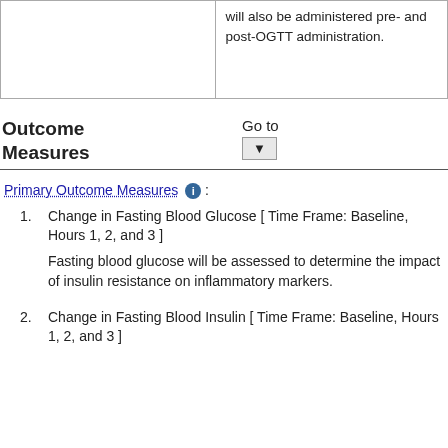|  |  |
| --- | --- |
|  | will also be administered pre- and post-OGTT administration. |
Outcome Measures
Primary Outcome Measures :
Change in Fasting Blood Glucose [ Time Frame: Baseline, Hours 1, 2, and 3 ]
Fasting blood glucose will be assessed to determine the impact of insulin resistance on inflammatory markers.
Change in Fasting Blood Insulin [ Time Frame: Baseline, Hours 1, 2, and 3 ]